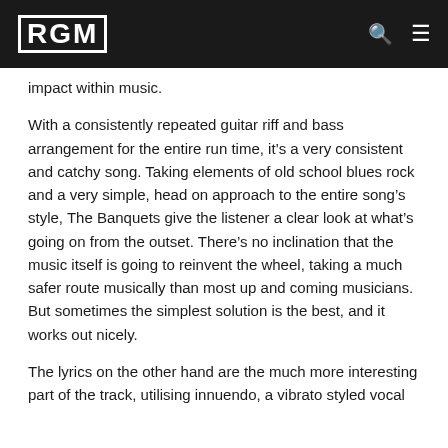RGM
impact within music.
With a consistently repeated guitar riff and bass arrangement for the entire run time, it’s a very consistent and catchy song. Taking elements of old school blues rock and a very simple, head on approach to the entire song’s style, The Banquets give the listener a clear look at what’s going on from the outset. There’s no inclination that the music itself is going to reinvent the wheel, taking a much safer route musically than most up and coming musicians. But sometimes the simplest solution is the best, and it works out nicely.
The lyrics on the other hand are the much more interesting part of the track, utilising innuendo, a vibrato styled vocal